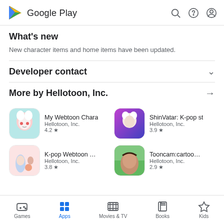Google Play
What's new
New character items and home items have been updated.
Developer contact
More by Hellotoon, Inc.
My Webtoon Chara
Hellotoon, Inc.
4.2 ★
ShinVatar: K-pop st
Hellotoon, Inc.
3.9 ★
K-pop Webtoon Cha
Hellotoon, Inc.
3.8 ★
Tooncam:cartoon, p
Hellotoon, Inc.
2.9 ★
Games  Apps  Movies & TV  Books  Kids